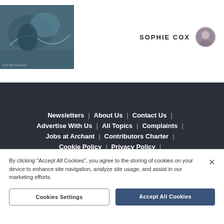[Figure (photo): Movie/show promotional image with blue-toned creature or character scene]
SOPHIE COX
Newsletters | About Us | Contact Us | Advertise With Us | All Topics | Complaints | Jobs at Archant | Contributors Charter | Cookie Policy | Privacy Policy | Terms & Conditions | Archant | Manage Cookies
By clicking "Accept All Cookies", you agree to the storing of cookies on your device to enhance site navigation, analyze site usage, and assist in our marketing efforts.
Cookies Settings
Accept All Cookies